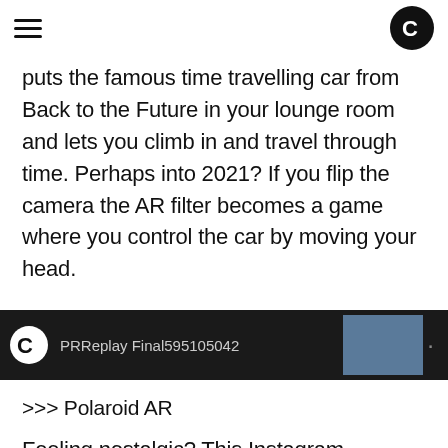[hamburger menu] [C logo]
puts the famous time travelling car from Back to the Future in your lounge room and lets you climb in and travel through time. Perhaps into 2021? If you flip the camera the AR filter becomes a game where you control the car by moving your head.
[Figure (screenshot): Dark screenshot bar showing a logo C and partially visible text 'PRReplay Final595105042' with a blue-grey thumbnail on the right]
>>> Polaroid AR
Feeling nostalgic? This Instagram